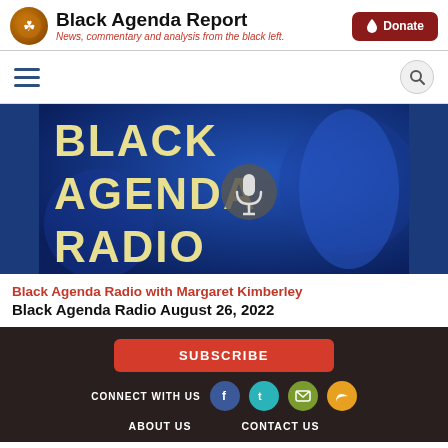Black Agenda Report — News, commentary and analysis from the black left. | Donate
[Figure (screenshot): Black Agenda Radio promotional image with blue background and large yellow text reading BLACK AGENDA RADIO with a microphone icon]
Black Agenda Radio with Margaret Kimberley
Black Agenda Radio August 26, 2022
SUBSCRIBE | CONNECT WITH US | Facebook | Twitter | Email | RSS | ABOUT US | CONTACT US